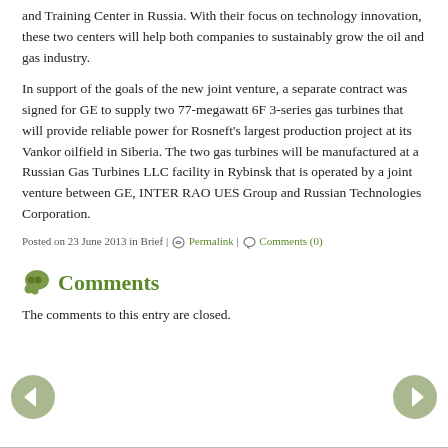and Training Center in Russia. With their focus on technology innovation, these two centers will help both companies to sustainably grow the oil and gas industry.
In support of the goals of the new joint venture, a separate contract was signed for GE to supply two 77-megawatt 6F 3-series gas turbines that will provide reliable power for Rosneft's largest production project at its Vankor oilfield in Siberia. The two gas turbines will be manufactured at a Russian Gas Turbines LLC facility in Rybinsk that is operated by a joint venture between GE, INTER RAO UES Group and Russian Technologies Corporation.
Posted on 23 June 2013 in Brief | Permalink | Comments (0)
Comments
The comments to this entry are closed.